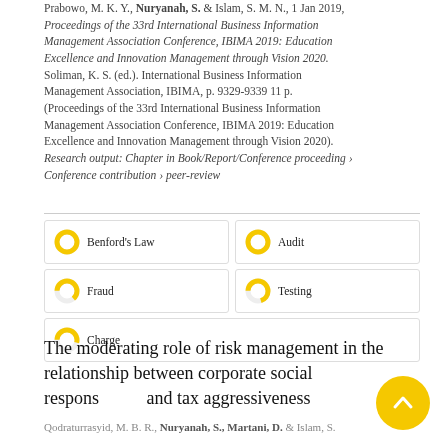Prabowo, M. K. Y., Nuryanah, S. & Islam, S. M. N., 1 Jan 2019, Proceedings of the 33rd International Business Information Management Association Conference, IBIMA 2019: Education Excellence and Innovation Management through Vision 2020. Soliman, K. S. (ed.). International Business Information Management Association, IBIMA, p. 9329-9339 11 p. (Proceedings of the 33rd International Business Information Management Association Conference, IBIMA 2019: Education Excellence and Innovation Management through Vision 2020). Research output: Chapter in Book/Report/Conference proceeding › Conference contribution › peer-review
Benford's Law
Audit
Fraud
Testing
Charge
The moderating role of risk management in the relationship between corporate social responsibility and tax aggressiveness
Qodraturrasyid, M. B. R., Nuryanah, S., Martani, D. & Islam, S.